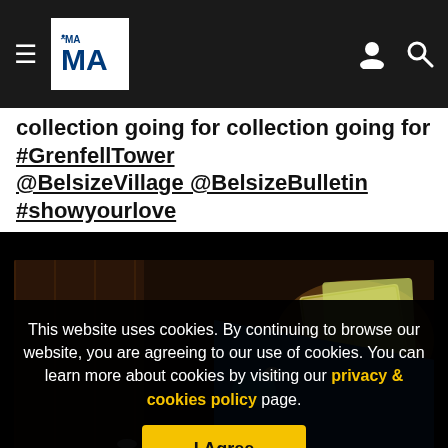THE MA (navigation bar with hamburger menu, logo, user icon, search icon)
collection going for #GrenfellTower @BelsizeVillage @BelsizeBulletin #showyourlove
[Figure (photo): A pub interior showing beer taps and a blue pennant flag with '#love' written on it in white text, with some banknotes visible in the background.]
This website uses cookies. By continuing to browse our website, you are agreeing to our use of cookies. You can learn more about cookies by visiting our privacy & cookies policy page.
I Agree